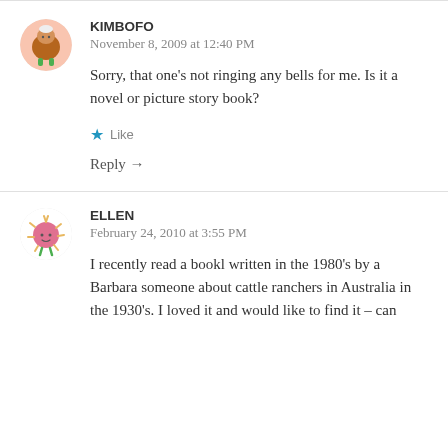KIMBOFO
November 8, 2009 at 12:40 PM
Sorry, that one's not ringing any bells for me. Is it a novel or picture story book?
Like
Reply →
ELLEN
February 24, 2010 at 3:55 PM
I recently read a bookl written in the 1980's by a Barbara someone about cattle ranchers in Australia in the 1930's. I loved it and would like to find it – can